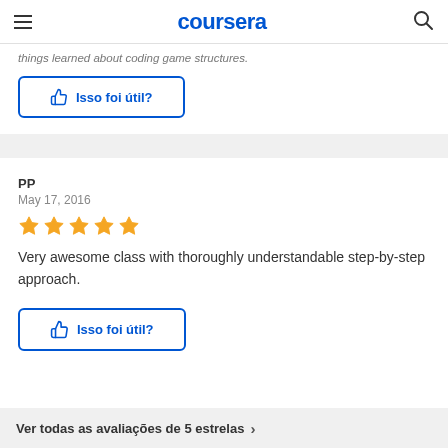coursera
things learned about coding game structures.
Isso foi útil?
PP
May 17, 2016
[Figure (other): 4 gold star rating]
Very awesome class with thoroughly understandable step-by-step approach.
Isso foi útil?
Ver todas as avaliações de 5 estrelas